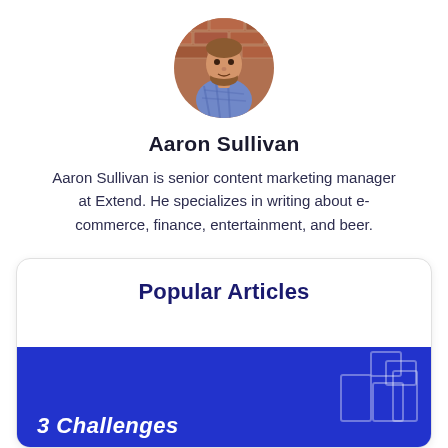[Figure (photo): Circular profile photo of Aaron Sullivan, a man with a beard wearing a plaid shirt, standing in front of a brick wall]
Aaron Sullivan
Aaron Sullivan is senior content marketing manager at Extend. He specializes in writing about e-commerce, finance, entertainment, and beer.
Popular Articles
[Figure (other): Blue banner card with text '3 Challenges' and decorative outline rectangles on the right side]